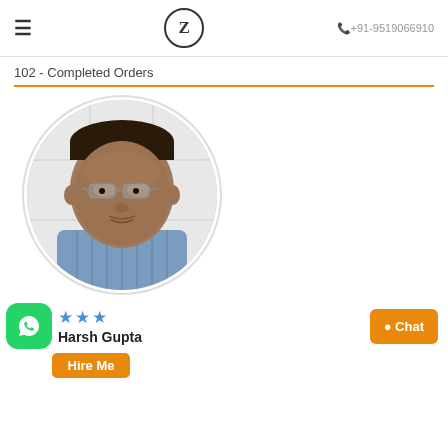≡  Z  +91-9519066910
102 - Completed Orders
[Figure (photo): Circular profile photo of a middle-aged man wearing glasses and a blue striped shirt, against a white tiled background]
★★★ Harsh Gupta
Chat
Hire Me